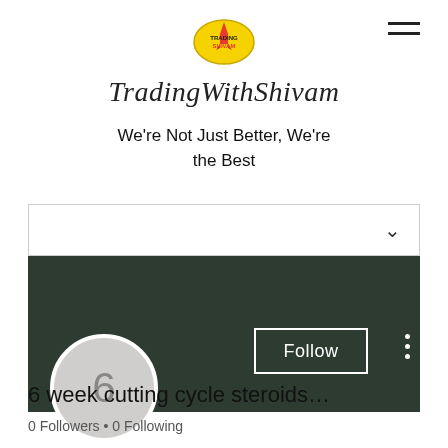[Figure (logo): TradingWithShivam oval yellow logo with rocket and text]
TradingWithShivam
We're Not Just Better, We're the Best
[Figure (screenshot): Dark green profile banner with Follow button and three-dot menu]
6 week cutting cycle steroids…
0 Followers • 0 Following